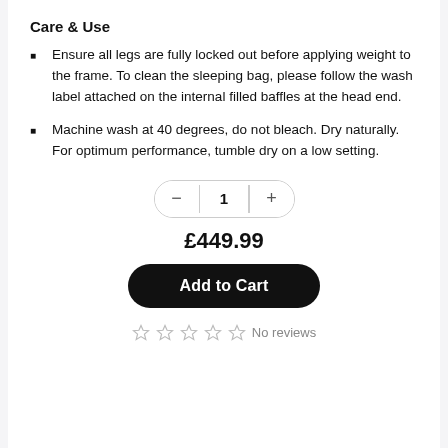Care & Use
Ensure all legs are fully locked out before applying weight to the frame. To clean the sleeping bag, please follow the wash label attached on the internal filled baffles at the head end.
Machine wash at 40 degrees, do not bleach. Dry naturally. For optimum performance, tumble dry on a low setting.
– 1 +
£449.99
Add to Cart
No reviews